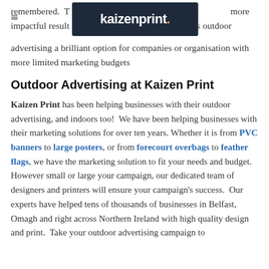kaizenprint.
remembered.  T... more impactful result... makes outdoor advertising a brilliant option for companies or organisation with more limited marketing budgets
Outdoor Advertising at Kaizen Print
Kaizen Print has been helping businesses with their outdoor advertising, and indoors too!  We have been helping businesses with their marketing solutions for over ten years. Whether it is from PVC banners to large posters, or from forecourt overbags to feather flags, we have the marketing solution to fit your needs and budget.  However small or large your campaign, our dedicated team of designers and printers will ensure your campaign's success.  Our experts have helped tens of thousands of businesses in Belfast, Omagh and right across Northern Ireland with high quality design and print.  Take your outdoor advertising campaign to